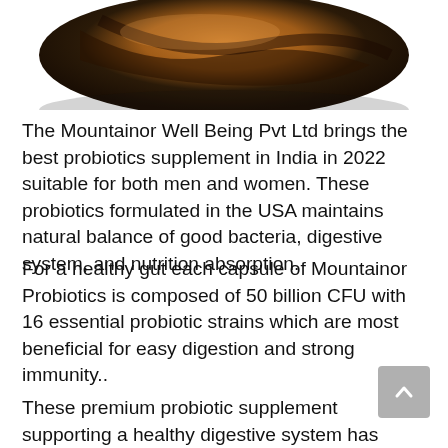[Figure (photo): Partial top view of a brown and black supplement bottle/container against white background]
The Mountainor Well Being Pvt Ltd brings the best probiotics supplement in India in 2022 suitable for both men and women. These probiotics formulated in the USA maintains natural balance of good bacteria, digestive system, and nutrition absorption.
For a healthy gut each capsule of Mountainor Probiotics is composed of 50 billion CFU with 16 essential probiotic strains which are most beneficial for easy digestion and strong immunity..
These premium probiotic supplement supporting a healthy digestive system has some